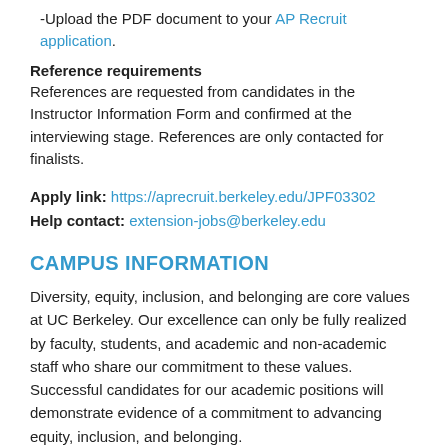-Upload the PDF document to your AP Recruit application.
Reference requirements
References are requested from candidates in the Instructor Information Form and confirmed at the interviewing stage. References are only contacted for finalists.
Apply link: https://aprecruit.berkeley.edu/JPF03302
Help contact: extension-jobs@berkeley.edu
CAMPUS INFORMATION
Diversity, equity, inclusion, and belonging are core values at UC Berkeley. Our excellence can only be fully realized by faculty, students, and academic and non-academic staff who share our commitment to these values. Successful candidates for our academic positions will demonstrate evidence of a commitment to advancing equity, inclusion, and belonging.
The University of California, Berkeley is an Equal Opportunity/Affirmative Action Employer. All qualified applicants will receive consideration for employment without regard to race, color, religion, sex, sexual orientation, gender identity, national origin, disability, age, or protected veteran